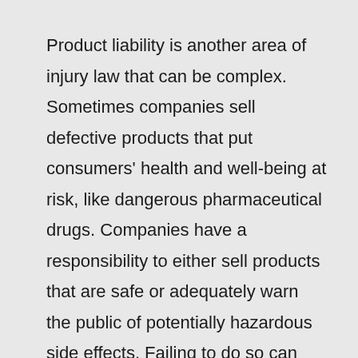Product liability is another area of injury law that can be complex. Sometimes companies sell defective products that put consumers' health and well-being at risk, like dangerous pharmaceutical drugs. Companies have a responsibility to either sell products that are safe or adequately warn the public of potentially hazardous side effects. Failing to do so can result in unnecessary injuries, and victims may be able to file a product liability lawsuit to hold these corporations accountable. Product liability lawsuits in Tennessee commonly arise out of design defects, manufacturing defects,